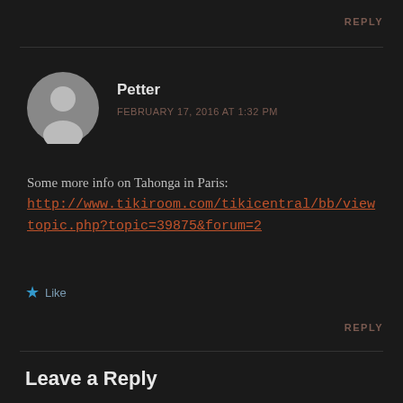REPLY
Petter
FEBRUARY 17, 2016 AT 1:32 PM
Some more info on Tahonga in Paris: http://www.tikiroom.com/tikicentral/bb/viewtopic.php?topic=39875&forum=2
★ Like
REPLY
Leave a Reply